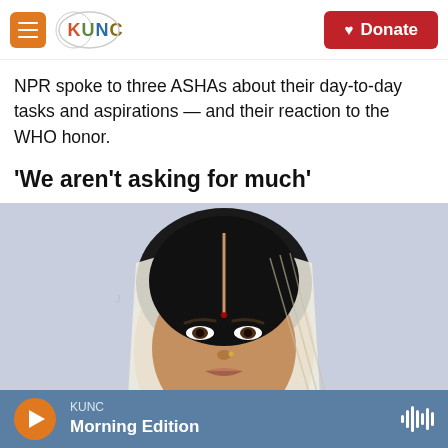KUNC — Donate
NPR spoke to three ASHAs about their day-to-day tasks and aspirations — and their reaction to the WHO honor.
'We aren't asking for much'
[Figure (photo): Portrait photo of a woman wearing a white head covering, photographed against a light gray/purple wall background. The woman has dark hair and a small nose stud.]
KUNC Morning Edition